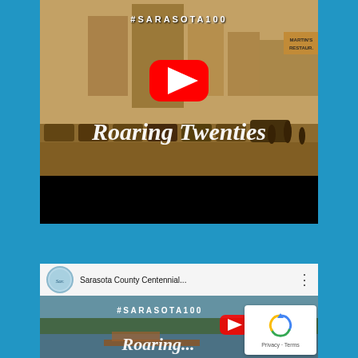[Figure (screenshot): YouTube video thumbnail showing a sepia-toned historic street scene of Sarasota with old cars parked along a downtown street, buildings including a tall central building, a Martin's Restaurant sign, text '#SARASOTA100' at top and 'Roaring Twenties' in cursive script, with a YouTube play button overlay.]
[Figure (screenshot): YouTube video player interface showing a Sarasota County Centennial channel video. Header shows the Sarasota County logo avatar, title 'Sarasota County Centennial...' and three-dot menu. Below is a thumbnail with a waterfront/bay scene, '#SARASOTA100' text, and partial 'Roaring...' cursive text. A reCAPTCHA badge with 'Privacy - Terms' appears in the bottom right corner.]